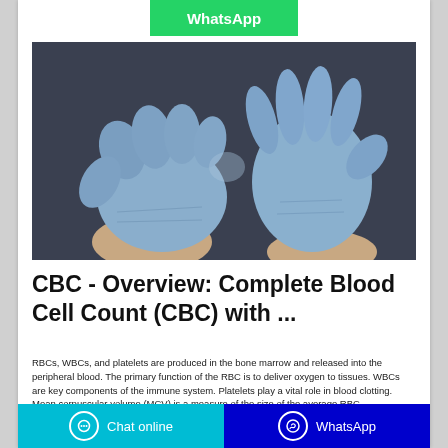[Figure (other): Green WhatsApp button at top of page]
[Figure (photo): Two hands wearing blue medical/latex gloves on a dark background, fingers touching]
CBC - Overview: Complete Blood Cell Count (CBC) with ...
RBCs, WBCs, and platelets are produced in the bone marrow and released into the peripheral blood. The primary function of the RBC is to deliver oxygen to tissues. WBCs are key components of the immune system. Platelets play a vital role in blood clotting. Mean corpuscular volume (MCV) is a measure of the size of the average RBC.
Chat online   WhatsApp